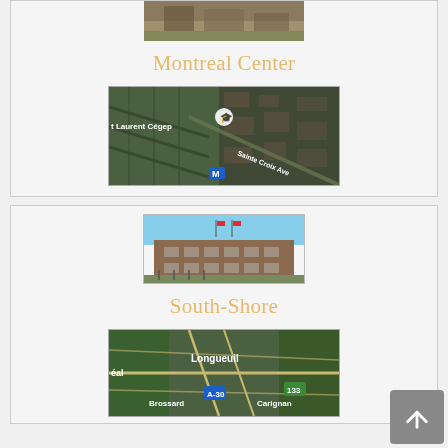[Figure (photo): Building exterior photo, top cropped — part of Montreal Center section]
Montreal Center
[Figure (map): Aerial satellite map showing St Laurent Cégep area with Sainte Croix Ave and Metro M marker]
[Figure (photo): Building exterior photo of South-Shore campus]
South-Shore
[Figure (map): Aerial satellite map showing Longueuil area with Brossard, Carignan, A-30, and route 133]